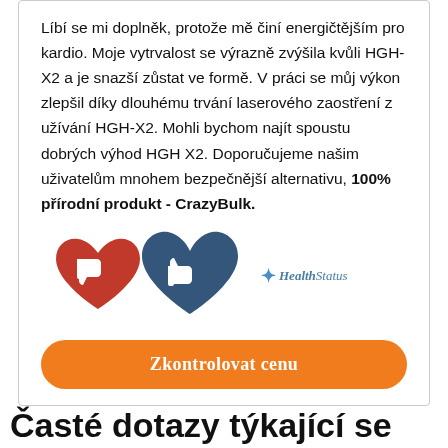Líbí se mi doplněk, protože mě činí energičtějším pro kardio. Moje vytrvalost se výrazně zvýšila kvůli HGH-X2 a je snazší zůstat ve formě. V práci se můj výkon zlepšil díky dlouhému trvání laserového zaostření z užívání HGH-X2. Mohli bychom najít spoustu dobrých výhod HGH X2. Doporučujeme našim uživatelům mnohem bezpečnější alternativu, 100% přírodní produkt - CrazyBulk.
[Figure (illustration): Two heart icons: a red heart with white thumbs-down icon on the left, and a blue heart with white thumbs-up icon on the right. A HealthStatus logo appears to the right.]
Zkontrolovat cenu
Časté dotazy týkající se